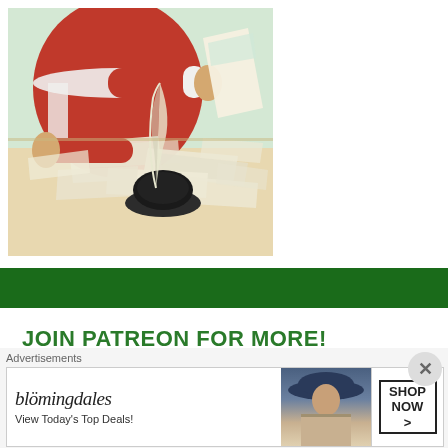[Figure (illustration): Vintage illustration of Santa Claus in red coat sitting at a desk reading letters, with an inkwell and quill pen on the desk, surrounded by many letters and papers.]
JOIN PATREON FOR MORE!
[Figure (other): Patreon 'Become a patron' button with orange rounded rectangle and Patreon logo icon]
Advertisements
[Figure (other): Bloomingdale's advertisement banner reading 'bloomingdales View Today's Top Deals!' with a model in a blue hat and a 'SHOP NOW >' button]